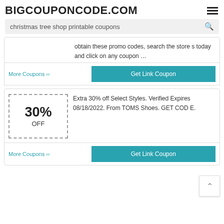BIGCOUPONCODE.COM
christmas tree shop printable coupons
obtain these promo codes, search the stores today and click on any coupon …
More Coupons ›› | Get Link Coupon
[Figure (other): 30% OFF coupon box with dashed border]
Extra 30% off Select Styles. Verified Expires 08/18/2022. From TOMS Shoes. GET CODE.
More Coupons ›› | Get Link Coupon